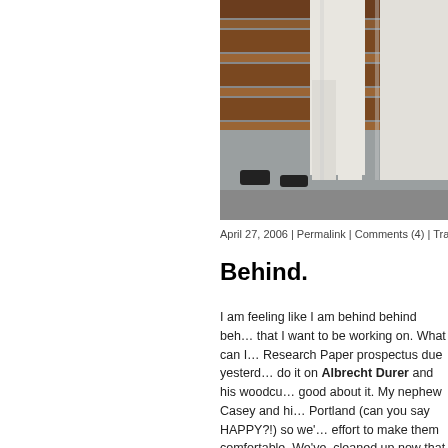[Figure (photo): Photo of a person in white pants standing on wooden stairs with grey carpet, cropped to show lower body only]
April 27, 2006 | Permalink | Comments (4) | Track
Behind.
I am feeling like I am behind behind beh... that I want to be working on. What can I... Research Paper prospectus due yesterd... do it on Albrecht Durer and his woodcu... good about it. My nephew Casey and hi... Portland (can you say HAPPY?!) so we'... effort to make them comfortable. We've ... cleaned up now that the weather has tur... has been super busy! What's up with tha...